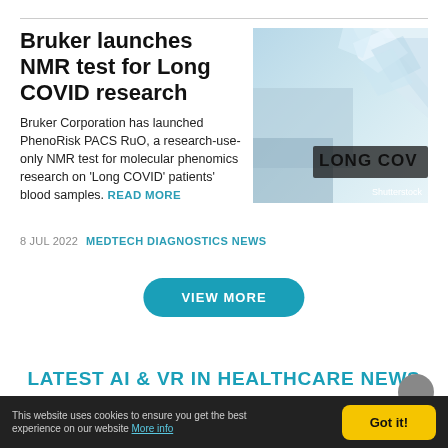Bruker launches NMR test for Long COVID research
[Figure (photo): Photo of a molecule/crystal structure with 'LONG COV' text visible, Shutterstock watermark]
Bruker Corporation has launched PhenoRisk PACS RuO, a research-use-only NMR test for molecular phenomics research on ‘Long COVID’ patients’ blood samples. READ MORE
8 JUL 2022   MEDTECH DIAGNOSTICS NEWS
VIEW MORE
LATEST AI & VR IN HEALTHCARE NEWS
This website uses cookies to ensure you get the best experience on our website More info   Got it!